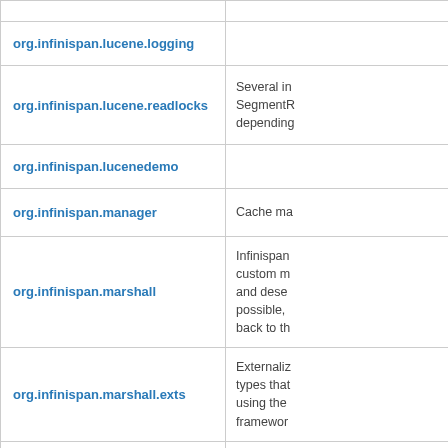| Package | Description |
| --- | --- |
| org.infinispan.lucene.logging |  |
| org.infinispan.lucene.readlocks | Several in... SegmentR... depending... |
| org.infinispan.lucenedemo |  |
| org.infinispan.manager | Cache ma... |
| org.infinispan.marshall | Infinispan... custom m... and dese... possible,... back to th... |
| org.infinispan.marshall.exts | Externaliz... types that... using the... framewor... |
| org.infinispan.marshall.jboss | Hooks to... marshalli... Marshalli... |
| org.infinispan.naamache.adi |  |